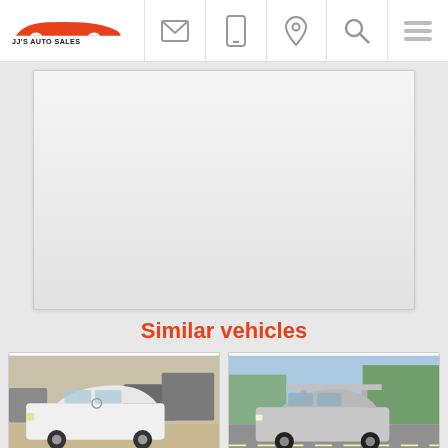JJ'S AUTO SALES
[Figure (photo): Large white content/map area placeholder]
Similar vehicles
[Figure (photo): White Mercedes-Benz sedan parked in a lot]
[Figure (photo): Silver sedan parked on a road]